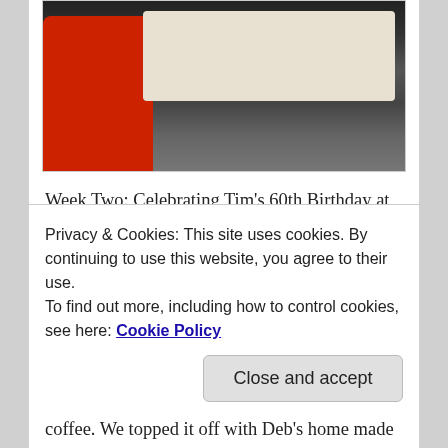[Figure (photo): Photo of people at a restaurant table; person in red jacket visible on the left, table with plates/food in center/right, dark background]
Week Two: Celebrating Tim's 60th Birthday at Guido's with Tim & Deb, Judi, Tom & Kathy and Sandy. We spent the night at Tim and Deb's home in Illinois. Talk about a great B&B! We had a beautiful bedroom, brand new bath and shower. Tim prepared an awesome breakfast of eggs, bacon, hash-browns, blueberries, strawberries, English muffins,orange juice and coffee. We topped it off with Deb's home made banana cream birthday cake. If you add the view over their pool and Lake Lorraine plus the good laughs with Tim and Deb all for the awesome price
Privacy & Cookies: This site uses cookies. By continuing to use this website, you agree to their use.
To find out more, including how to control cookies, see here: Cookie Policy
Close and accept
Advertisements